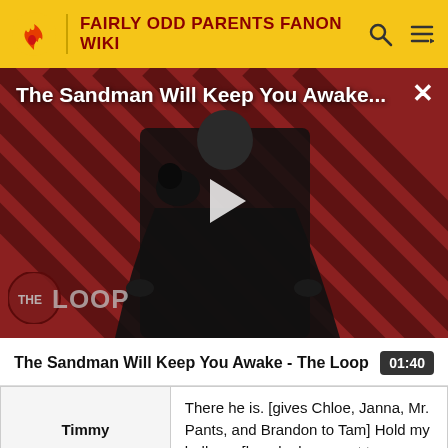FAIRLY ODD PARENTS FANON WIKI
[Figure (screenshot): Video thumbnail showing a man in dark clothing with a raven, against a dark red diagonal striped background. Shows THE LOOP logo at bottom left. Title overlay reads 'The Sandman Will Keep You Awake...' with a play button centered.]
The Sandman Will Keep You Awake - The Loop 01:40
| Timmy |  |
| --- | --- |
| Timmy | There he is. [gives Chloe, Janna, Mr. Pants, and Brandon to Tam] Hold my balloon. [kneels down next to |